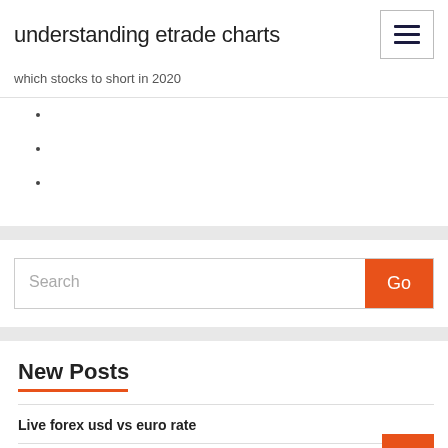understanding etrade charts
which stocks to short in 2020
Search
New Posts
Live forex usd vs euro rate
Iphone 8 plus tradesman case